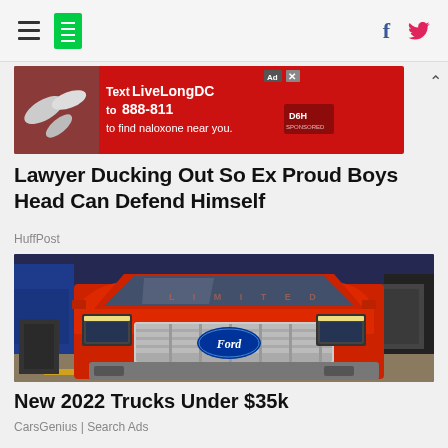HuffPost navigation bar with hamburger menu, logo, Facebook and Twitter icons
[Figure (other): Advertisement banner: Text LiveLongDC to 888-811 to find naloxone near you.]
Lawyer Ducking Out So Ex Proud Boys Head Can Defend Himself
HuffPost
[Figure (photo): Red Ford F-150 pickup truck photographed at a car show, front view, chrome grille, Ford logo on license plate, blue background]
New 2022 Trucks Under $35k
CarsGenius | Search Ads